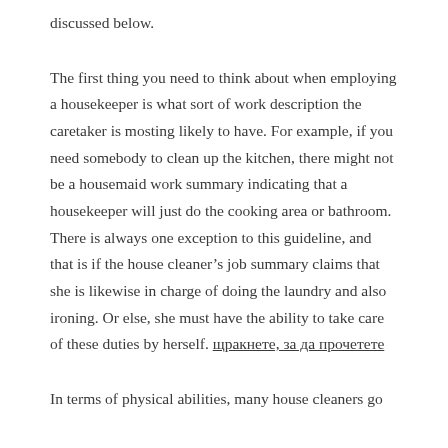discussed below.
The first thing you need to think about when employing a housekeeper is what sort of work description the caretaker is mosting likely to have. For example, if you need somebody to clean up the kitchen, there might not be a housemaid work summary indicating that a housekeeper will just do the cooking area or bathroom. There is always one exception to this guideline, and that is if the house cleaner’s job summary claims that she is likewise in charge of doing the laundry and also ironing. Or else, she must have the ability to take care of these duties by herself. щракнете, за да прочетете
In terms of physical abilities, many house cleaners go